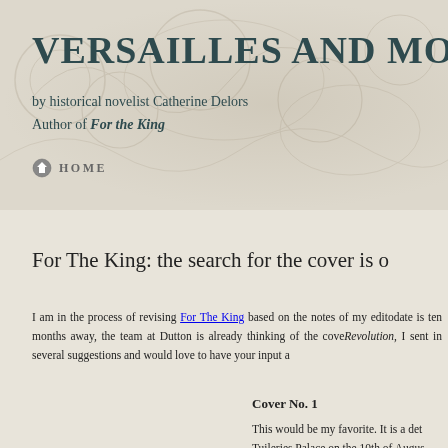VERSAILLES AND MORE
by historical novelist Catherine Delors
Author of For the King
HOME
For The King: the search for the cover is o
I am in the process of revising For The King based on the notes of my edito... date is ten months away, the team at Dutton is already thinking of the cove... Revolution, I sent in several suggestions and would love to have your input a...
Cover No. 1
This would be my favorite. It is a det... Tuileries Palace on the 10th of Augus...